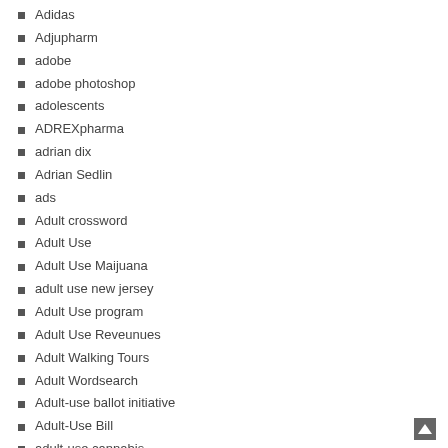Adidas
Adjupharm
adobe
adobe photoshop
adolescents
ADREXpharma
adrian dix
Adrian Sedlin
ads
Adult crossword
Adult Use
Adult Use Maijuana
adult use new jersey
Adult Use program
Adult Use Reveunues
Adult Walking Tours
Adult Wordsearch
Adult-use ballot initiative
Adult-Use Bill
adult-use cannabis
adult-use cannabis legalization